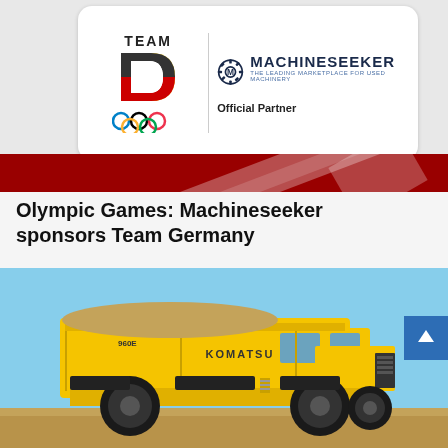[Figure (illustration): Partnership announcement card showing Team Germany Olympic logo on the left with the text TEAM D and Olympic rings, and Machineseeker logo on the right with the text Official Partner. Below the card is a red textured band with a white diagonal stripe.]
Olympic Games: Machineseeker sponsors Team Germany
[Figure (photo): A large yellow Komatsu 960E mining dump truck driving on a dirt road against a clear blue sky background. The truck is massive with large tires and is carrying a load.]